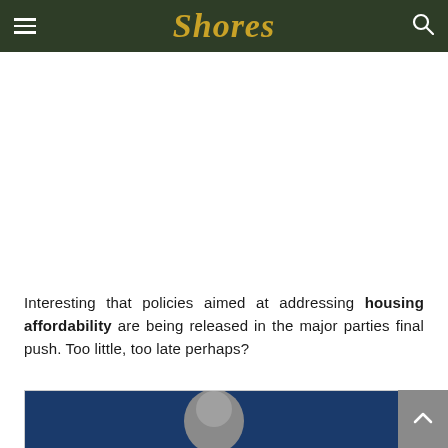Shores
[Figure (photo): White/blank advertisement space area]
Interesting that policies aimed at addressing housing affordability are being released in the major parties final push. Too little, too late perhaps?
[Figure (photo): Photo of a grey-haired man with glasses against a blue background, partially visible at bottom of page]